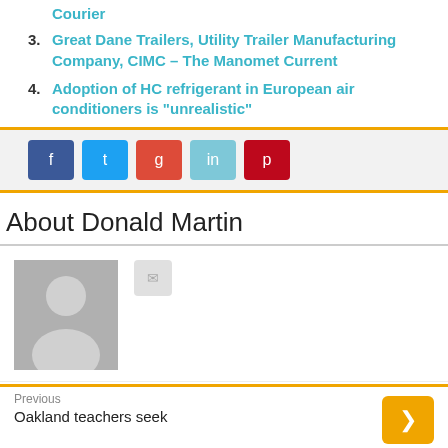Courier
3. Great Dane Trailers, Utility Trailer Manufacturing Company, CIMC – The Manomet Current
4. Adoption of HC refrigerant in European air conditioners is "unrealistic"
[Figure (other): Social sharing buttons: Facebook, Twitter, Google+, LinkedIn, Pinterest]
About Donald Martin
[Figure (photo): Generic user avatar placeholder (grey silhouette) with a small social icon button]
Previous
Oakland teachers seek